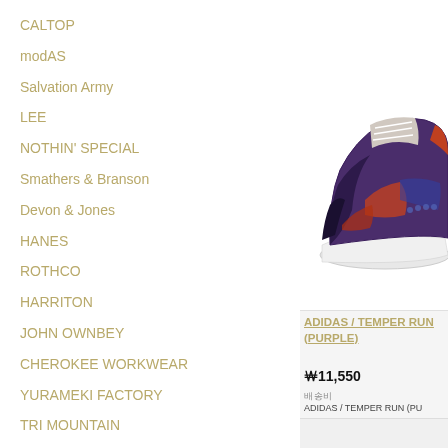CALTOP
modAS
Salvation Army
LEE
NOTHIN' SPECIAL
Smathers & Branson
Devon & Jones
HANES
ROTHCO
HARRITON
JOHN OWNBEY
CHEROKEE WORKWEAR
YURAMEKI FACTORY
TRI MOUNTAIN
dead stock
ARC'TERYX
[Figure (photo): Adidas Temper Run sneaker in purple colorway, side view showing chunky sole]
ADIDAS / TEMPER RUN (PURPLE)
￦11,550
배송비
ADIDAS / TEMPER RUN (PURPLE)
TEL 075-